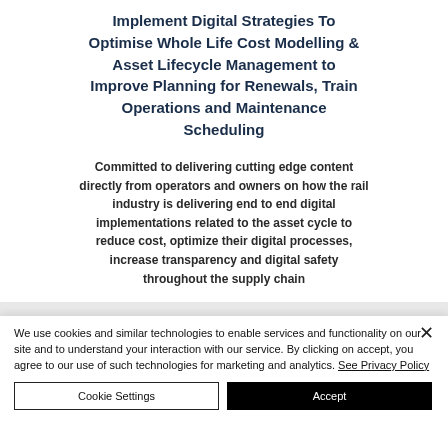Implement Digital Strategies To Optimise Whole Life Cost Modelling & Asset Lifecycle Management to Improve Planning for Renewals, Train Operations and Maintenance Scheduling
Committed to delivering cutting edge content directly from operators and owners on how the rail industry is delivering end to end digital implementations related to the asset cycle to reduce cost, optimize their digital processes, increase transparency and digital safety throughout the supply chain
We use cookies and similar technologies to enable services and functionality on our site and to understand your interaction with our service. By clicking on accept, you agree to our use of such technologies for marketing and analytics. See Privacy Policy